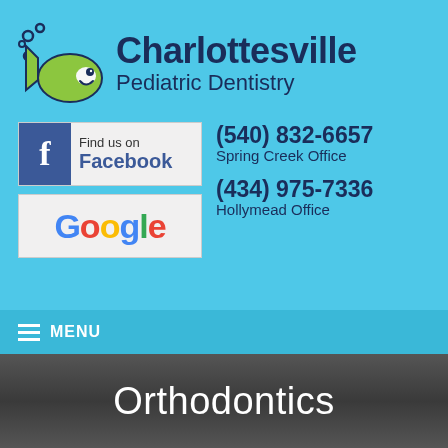[Figure (logo): Charlottesville Pediatric Dentistry logo with fish mascot and bubble circles, on light blue background]
[Figure (logo): Find us on Facebook button with blue Facebook icon]
(540) 832-6657
Spring Creek Office
[Figure (logo): Google logo button]
(434) 975-7336
Hollymead Office
≡ MENU
Orthodontics